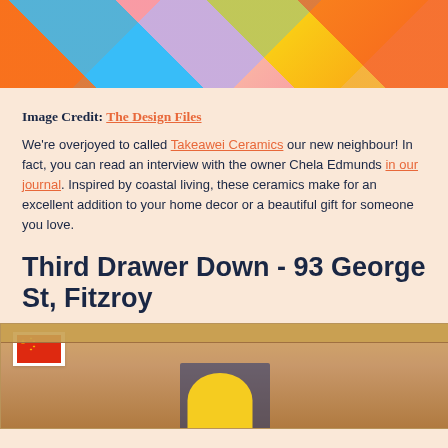[Figure (photo): Colorful mural wall with orange, blue, pink and yellow abstract shapes, photographed outdoors]
Image Credit: The Design Files
We're overjoyed to called Takeawei Ceramics our new neighbour! In fact, you can read an interview with the owner Chela Edmunds in our journal. Inspired by coastal living, these ceramics make for an excellent addition to your home decor or a beautiful gift for someone you love.
Third Drawer Down - 93 George St, Fitzroy
[Figure (photo): Storefront of a shop with rolled-up metal shutters and a Chinese flag visible on the left side]